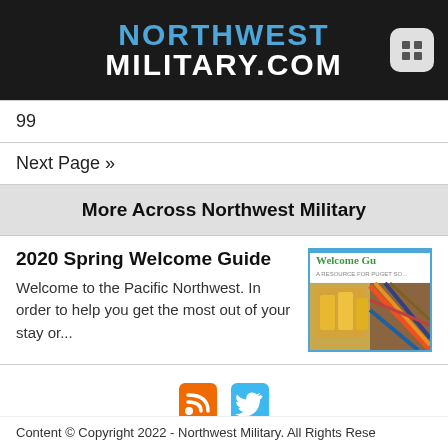NORTHWEST MILITARY.COM
99
Next Page »
More Across Northwest Military
2020 Spring Welcome Guide
Welcome to the Pacific Northwest. In order to help you get the most out of your stay or...
[Figure (screenshot): Thumbnail image of Welcome Guide publication cover showing food photos and title]
[Figure (logo): RSS feed orange icon and Twitter blue bird icon social media buttons]
Content © Copyright 2022 - Northwest Military. All Rights Rese...